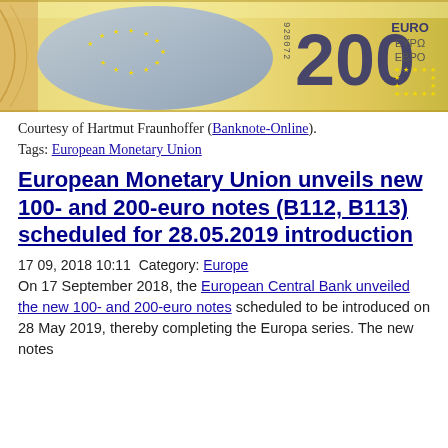[Figure (photo): Back side of a 200 Euro banknote showing the map of Europe, serial number 928072, the numeral 200, and the EURO / EYPO / EBPO text in the top right corner. Yellow-gold and blue color scheme.]
Courtesy of Hartmut Fraunhoffer (Banknote-Online).
Tags: European Monetary Union
European Monetary Union unveils new 100- and 200-euro notes (B112, B113) scheduled for 28.05.2019 introduction
17 09, 2018 10:11 Category: Europe
On 17 September 2018, the European Central Bank unveiled the new 100- and 200-euro notes scheduled to be introduced on 28 May 2019, thereby completing the Europa series. The new notes